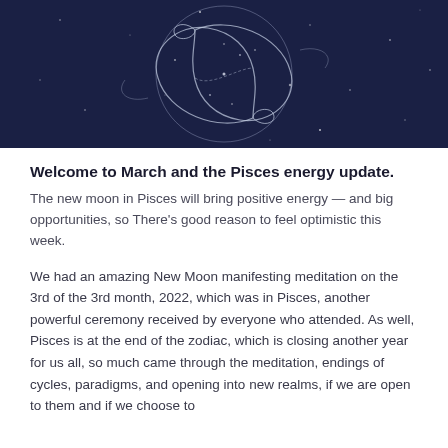[Figure (illustration): Dark navy blue circular illustration with white line art of Pisces fish constellation motif, stars and swirling cosmic patterns on a deep dark blue background.]
Welcome to March and the Pisces energy update.
The new moon in Pisces will bring positive energy — and big opportunities, so There's good reason to feel optimistic this week.
We had an amazing New Moon manifesting meditation on the 3rd of the 3rd month, 2022, which was in Pisces, another powerful ceremony received by everyone who attended. As well, Pisces is at the end of the zodiac, which is closing another year for us all, so much came through the meditation, endings of cycles, paradigms, and opening into new realms, if we are open to them and if we choose to